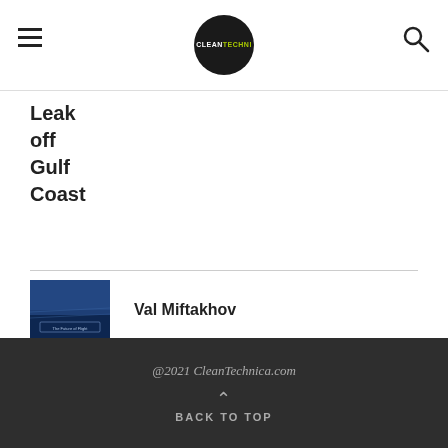CleanTechnica
Leak off Gulf Coast
Val Miftakhov
In PV Furnace Case Green Patent Litigation Moves Upstream
@2021 CleanTechnica.com BACK TO TOP